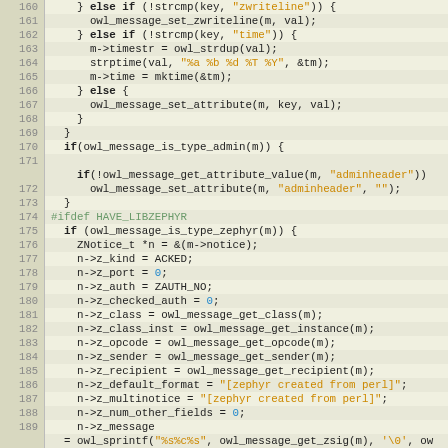[Figure (screenshot): Source code listing in C, lines 160-189, showing conditional parsing logic for message attributes including zwriteline, time, adminheader, and zephyr notice fields. Displayed in a code editor with alternating row colors and line numbers.]